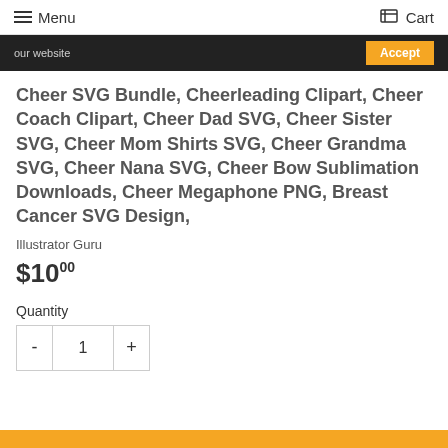Menu | Cart
our website  Accept
Cheer SVG Bundle, Cheerleading Clipart, Cheer Coach Clipart, Cheer Dad SVG, Cheer Sister SVG, Cheer Mom Shirts SVG, Cheer Grandma SVG, Cheer Nana SVG, Cheer Bow Sublimation Downloads, Cheer Megaphone PNG, Breast Cancer SVG Design,
Illustrator Guru
$10.00
Quantity
- 1 +